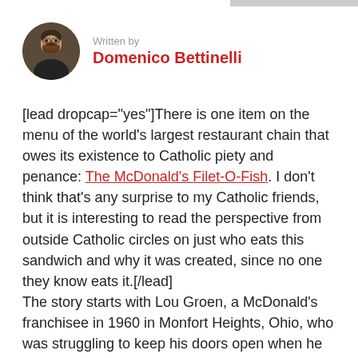Written by
Domenico Bettinelli
[lead dropcap="yes"]There is one item on the menu of the world's largest restaurant chain that owes its existence to Catholic piety and penance: The McDonald's Filet-O-Fish. I don't think that's any surprise to my Catholic friends, but it is interesting to read the perspective from outside Catholic circles on just who eats this sandwich and why it was created, since no one they know eats it.[/lead] The story starts with Lou Groen, a McDonald's franchisee in 1960 in Monfort Heights, Ohio, who was struggling to keep his doors open when he was selling virtually no burgers on Fridays. That's because the population of the